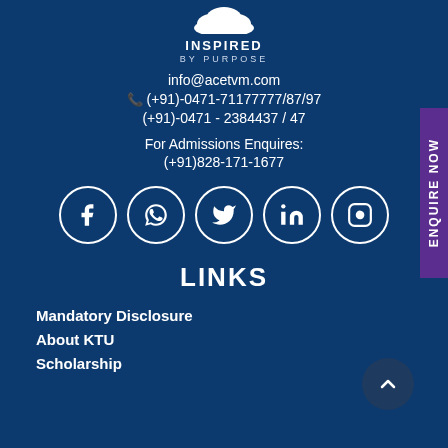[Figure (logo): Cloud shape logo with text INSPIRED BY PURPOSE]
info@acetvm.com
(+91)-0471-71177777/87/97
(+91)-0471 - 2384437 / 47
For Admissions Enquires:
(+91)828-171-1677
[Figure (infographic): Social media icons in circles: Facebook, WhatsApp, Twitter, LinkedIn, Instagram]
LINKS
Mandatory Disclosure
About KTU
Scholarship